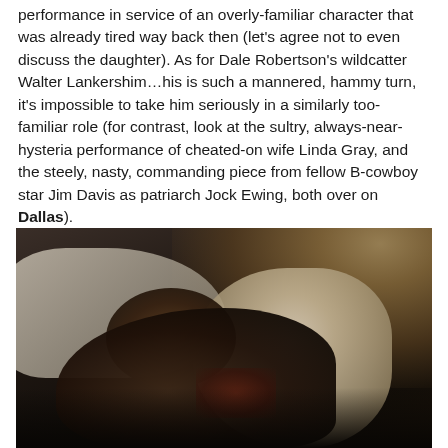performance in service of an overly-familiar character that was already tired way back then (let's agree not to even discuss the daughter). As for Dale Robertson's wildcatter Walter Lankershim...his is such a mannered, hammy turn, it's impossible to take him seriously in a similarly too-familiar role (for contrast, look at the sultry, always-near-hysteria performance of cheated-on wife Linda Gray, and the steely, nasty, commanding piece from fellow B-cowboy star Jim Davis as patriarch Jock Ewing, both over on Dallas).
[Figure (photo): Dark interior scene showing dimly lit room with a person lying down, white/cream fabric and a pillow visible, warm amber light source in upper right background suggesting a living room setting]